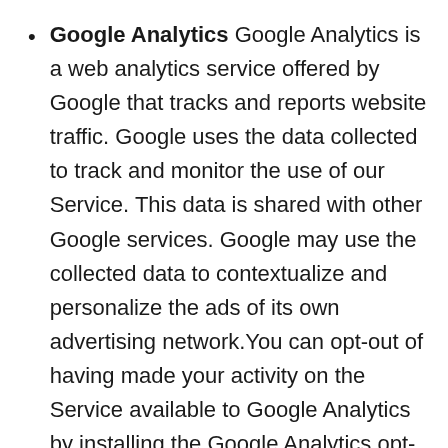Google Analytics Google Analytics is a web analytics service offered by Google that tracks and reports website traffic. Google uses the data collected to track and monitor the use of our Service. This data is shared with other Google services. Google may use the collected data to contextualize and personalize the ads of its own advertising network.You can opt-out of having made your activity on the Service available to Google Analytics by installing the Google Analytics opt-out browser add-on. The add-on prevents the Google Analytics JavaScript (ga.js, analytics.js, and dc.js) from sharing information with Google Analytics about visits